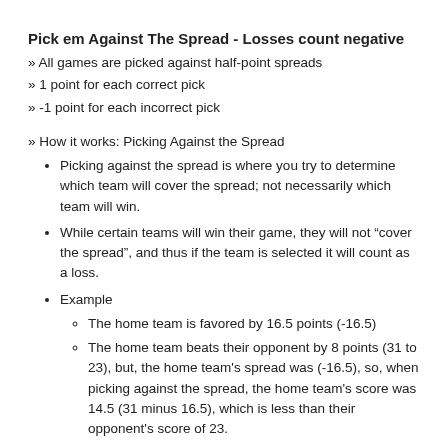Pick em Against The Spread - Losses count negative
» All games are picked against half-point spreads
» 1 point for each correct pick
» -1 point for each incorrect pick
» How it works: Picking Against the Spread
Picking against the spread is where you try to determine which team will cover the spread; not necessarily which team will win.
While certain teams will win their game, they will not “cover the spread”, and thus if the team is selected it will count as a loss.
Example
The home team is favored by 16.5 points (-16.5)
The home team beats their opponent by 8 points (31 to 23), but, the home team's spread was (-16.5), so, when picking against the spread, the home team's score was 14.5 (31 minus 16.5), which is less than their opponent's score of 23.